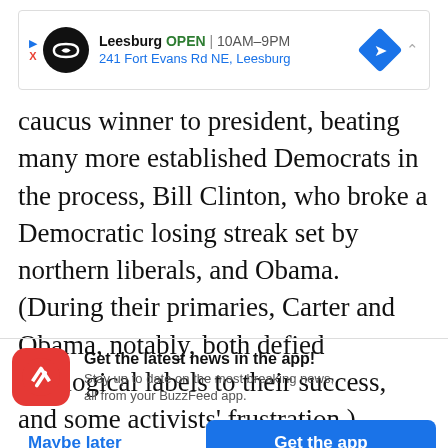[Figure (screenshot): Advertisement banner for a business in Leesburg showing OPEN status, hours 10AM-9PM, address 241 Fort Evans Rd NE Leesburg, with navigation icon]
caucus winner to president, beating many more established Democrats in the process, Bill Clinton, who broke a Democratic losing streak set by northern liberals, and Obama. (During their primaries, Carter and Obama, notably, both defied ideological labels to their success, and some activists' frustration.)
[Figure (screenshot): BuzzFeed app promotional banner: red circular icon with white arrow, text 'Get the latest news in the app! Stay up to date on the most breaking news, all from your BuzzFeed app.' with Maybe later and Get the app buttons]